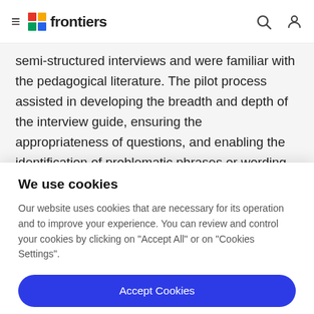frontiers
semi-structured interviews and were familiar with the pedagogical literature. The pilot process assisted in developing the breadth and depth of the interview guide, ensuring the appropriateness of questions, and enabling the identification of problematic phrases or wording. The
We use cookies
Our website uses cookies that are necessary for its operation and to improve your experience. You can review and control your cookies by clicking on "Accept All" or on "Cookies Settings".
Accept Cookies
Cookies Settings